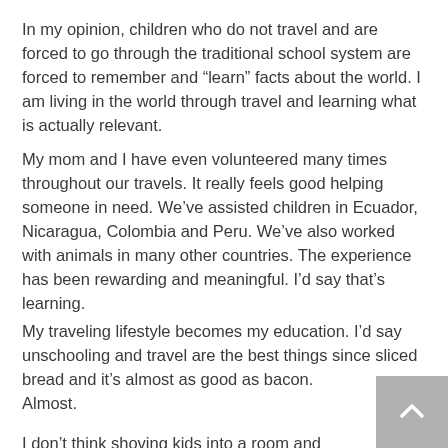In my opinion, children who do not travel and are forced to go through the traditional school system are forced to remember and “learn” facts about the world. I am living in the world through travel and learning what is actually relevant.
My mom and I have even volunteered many times throughout our travels. It really feels good helping someone in need. We’ve assisted children in Ecuador, Nicaragua, Colombia and Peru. We’ve also worked with animals in many other countries. The experience has been rewarding and meaningful. I’d say that’s learning.
My traveling lifestyle becomes my education. I’d say unschooling and travel are the best things since sliced bread and it’s almost as good as bacon.
Almost.
I don’t think shoving kids into a room and talking at them is the best way to go about learning. Let them explore the world! See what life has to offer!